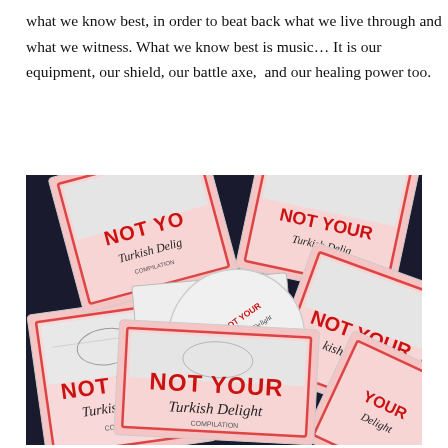what we know best, in order to beat back what we live through and what we witness. What we know best is music… It is our equipment, our shield, our battle axe,  and our healing power too.
[Figure (photo): Photograph of multiple CD copies of 'Not Your Turkish Delight Compilation' spread out on a dark surface, showing the CD covers with red bold text 'NOT YOUR' and handwritten 'Turkish Delight' text, plus an open CD case with a white disc labeled 'NOT YOUR Turkish Delight'.]